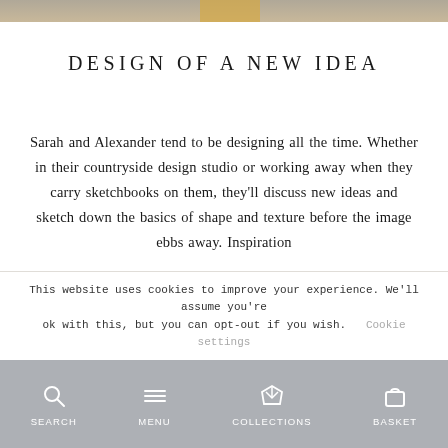[Figure (photo): Cropped top portion of a photo showing muted earth tones with a warm golden accent strip]
DESIGN OF A NEW IDEA
Sarah and Alexander tend to be designing all the time. Whether in their countryside design studio or working away when they carry sketchbooks on them, they'll discuss new ideas and sketch down the basics of shape and texture before the image ebbs away. Inspiration
This website uses cookies to improve your experience. We'll assume you're ok with this, but you can opt-out if you wish.
SEARCH  MENU  COLLECTIONS  BASKET